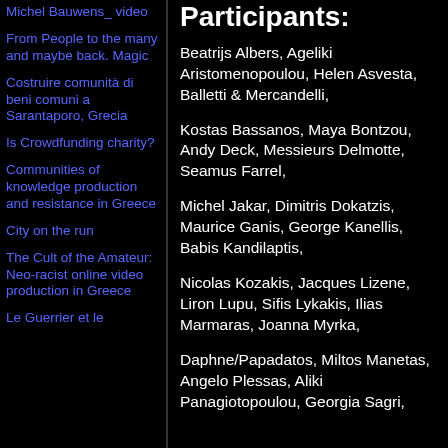Michel Bauwens_ video
From People to the many and maybe back. Magic
Costruire comunità di beni comuni a Sarantaporo, Grecia
Is Crowdfunding charity?
Communities of knowledge production and resistance in Greece
City on the run
The Cult of the Amateur: Neo-racist online video production in Greece
Le Guerrier et le
Participants:
Beatrijs Albers, Ageliki Aristomenopoulou, Helen Asvesta, Balletti & Mercandelli,
Kostas Bassanos, Maya Bontzou, Andy Deck, Messieurs Delmotte, Seamus Farrel,
Michel Jakar, Dimitris Dokatzis, Maurice Ganis, George Kanellis, Babis Kandilaptis,
Nicolas Kozakis, Jacques Lizene, Liron Lupu, Sifis Lykakis, Ilias Marmaras, Joanna Myrka,
Daphne/Papadatos, Miltos Manetas, Angelo Plessas, Aliki Panagiotopoulou, Georgia Sagri,